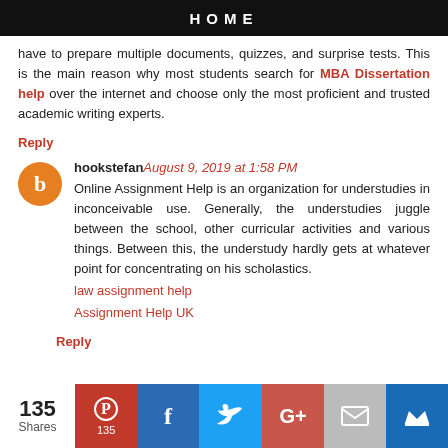HOME
have to prepare multiple documents, quizzes, and surprise tests. This is the main reason why most students search for MBA Dissertation help over the internet and choose only the most proficient and trusted academic writing experts.
Reply
hookstefan August 9, 2019 at 1:58 PM
Online Assignment Help is an organization for understudies in inconceivable use. Generally, the understudies juggle between the school, other curricular activities and various things. Between this, the understudy hardly gets at whatever point for concentrating on his scholastics.
law assignment help
Assignment Help UK
Reply